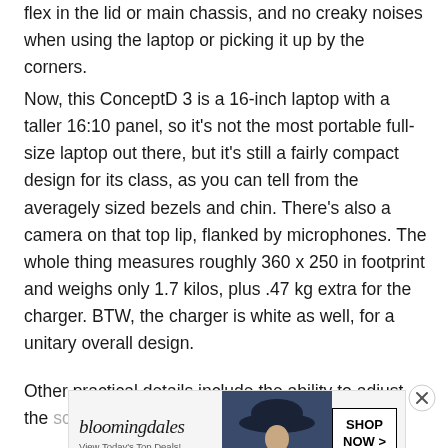flex in the lid or main chassis, and no creaky noises when using the laptop or picking it up by the corners.
Now, this ConceptD 3 is a 16-inch laptop with a taller 16:10 panel, so it's not the most portable full-size laptop out there, but it's still a fairly compact design for its class, as you can tell from the averagely sized bezels and chin. There's also a camera on that top lip, flanked by microphones. The whole thing measures roughly 360 x 250 in footprint and weighs only 1.7 kilos, plus .47 kg extra for the charger. BTW, the charger is white as well, for a unitary overall design.
Other practical details include the ability to adjust the scree... the way h...
[Figure (other): Bloomingdale's advertisement banner with logo, 'View Today's Top Deals!' tagline, a person wearing a hat, and 'SHOP NOW >' button. Has a close (X) button overlay.]